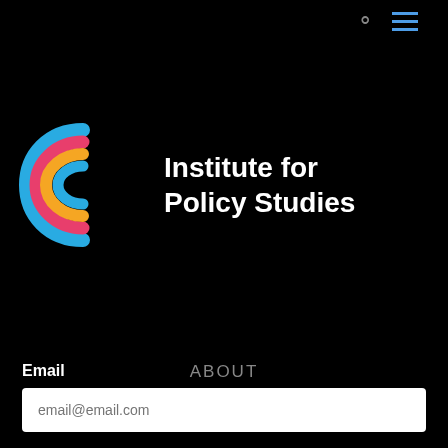[Figure (logo): Institute for Policy Studies logo with colorful swirl and white text]
ABOUT
ARCHIVE
SUBMIT
DONATE
Email
email@email.com